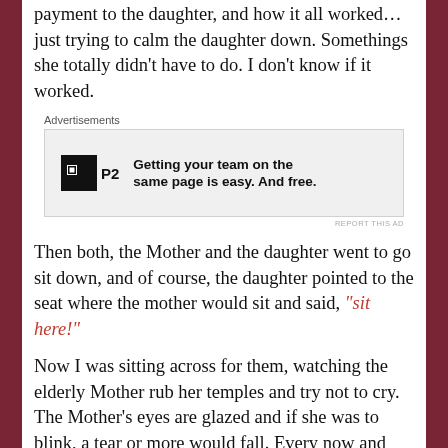payment to the daughter, and how it all worked… just trying to calm the daughter down. Somethings she totally didn't have to do. I don't know if it worked.
[Figure (other): Advertisement box with P2 logo and text: Getting your team on the same page is easy. And free.]
Then both, the Mother and the daughter went to go sit down, and of course, the daughter pointed to the seat where the mother would sit and said, "sit here!"
Now I was sitting across for them, watching the elderly Mother rub her temples and try not to cry. The Mother's eyes are glazed and if she was to blink, a tear or more would fall. Every now and then she'll dabs a used tissue to her eyes as